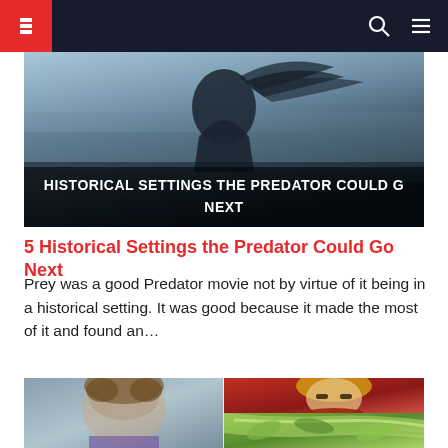ScreenRant navigation header with logo, search and menu icons
[Figure (photo): Dark atmospheric silhouette of a figure with flowing hair against a misty blue-grey background, with white text overlay reading 'HISTORICAL SETTINGS THE PREDATOR COULD GO NEXT']
5 Historical Settings the Predator Could Go Next
Prey was a good Predator movie not by virtue of it being in a historical setting. It was good because it made the most of it and found an…
[Figure (photo): Split image: left side shows a real young man with curly brown hair; right side shows anime character Edward Elric from Fullmetal Alchemist and a green energy/plant anime scene below]